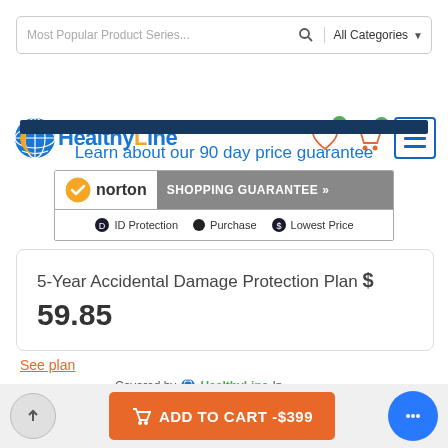[Figure (screenshot): Search bar with 'Most Popular Product Series...' placeholder and 'All Categories' dropdown]
[Figure (logo): HealthyLine logo with navigation icons (heart, cart, hamburger menu)]
Learn about our 90 day price guarantee
[Figure (logo): Norton Shopping Guarantee badge with ID Protection, Purchase, Lowest Price]
5-Year Accidental Damage Protection Plan $ 59.85
See plan
Covered by HealthyLine In...
[Figure (screenshot): Bottom bar with scroll-up button, ADD TO CART -$399 orange button, and chat button]